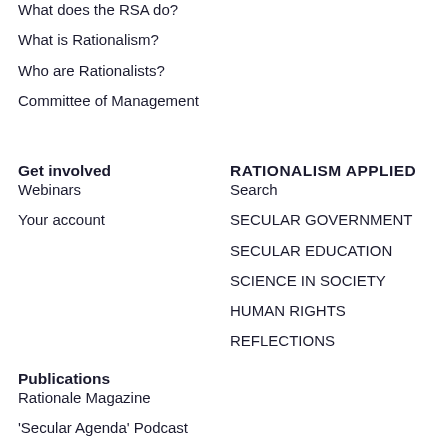What does the RSA do?
What is Rationalism?
Who are Rationalists?
Committee of Management
Get involved
Webinars
Your account
RATIONALISM APPLIED
Search
SECULAR GOVERNMENT
SECULAR EDUCATION
SCIENCE IN SOCIETY
HUMAN RIGHTS
REFLECTIONS
Publications
Rationale Magazine
'Secular Agenda' Podcast